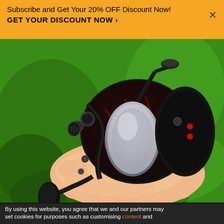Subscribe and Get Your 20% OFF Discount Now!
GET YOUR DISCOUNT NOW ›
[Figure (photo): A hand holding a black and red baitcasting fishing reel against a green background]
By using this website, you agree that we and our partners may set cookies for purposes such as customising content and